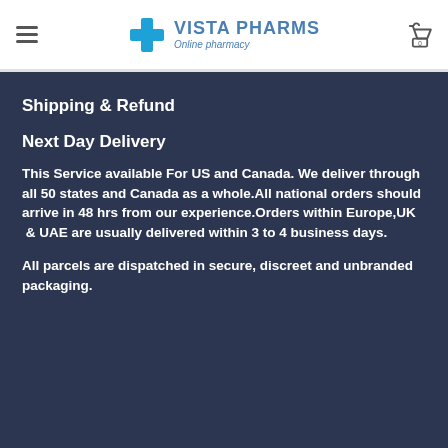Vista Pharms - Online pharmacy
Shipping & Refund
Next Day Delivery
This Service available For US and Canada. We deliver through all 50 states and Canada as a whole.All national orders should arrive in 48 hrs from our experience.Orders within Europe,UK  & UAE are usually delivered within 3 to 4 business days.
All parcels are dispatched in secure, discreet and unbranded packaging.